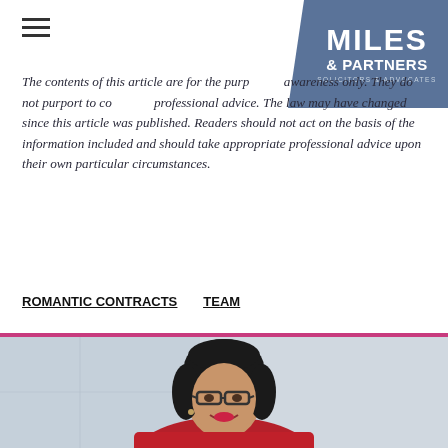MILES & PARTNERS SOLICITORS & ADVOCATES
The contents of this article are for the purpose of awareness only. They do not purport to constitute professional advice. The law may have changed since this article was published. Readers should not act on the basis of the information included and should take appropriate professional advice upon their own particular circumstances.
ROMANTIC CONTRACTS   TEAM
[Figure (photo): Professional headshot of a woman with dark hair, glasses, and red top, smiling at the camera]